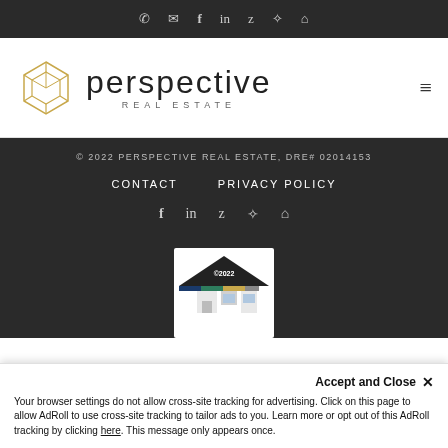Navigation icons: phone, email, facebook, linkedin, zillow, yelp, home
[Figure (logo): Perspective Real Estate logo with geometric hexagon mark and wordmark]
© 2022 PERSPECTIVE REAL ESTATE, DRE# 02014153
CONTACT
PRIVACY POLICY
[Figure (infographic): Social media icons: facebook, linkedin, zillow, yelp, home]
[Figure (photo): House/real estate report graphic with ©2022 label]
Accept and Close ✕
Your browser settings do not allow cross-site tracking for advertising. Click on this page to allow AdRoll to use cross-site tracking to tailor ads to you. Learn more or opt out of this AdRoll tracking by clicking here. This message only appears once.